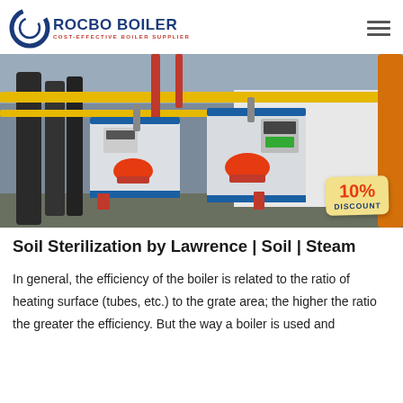ROCBO BOILER - COST-EFFECTIVE BOILER SUPPLIER
[Figure (photo): Industrial boiler room with multiple steam boilers, red safety helmets on equipment, yellow overhead pipes, blue and white boiler units with control panels. A '10% DISCOUNT' badge is displayed on the right side of the image.]
Soil Sterilization by Lawrence | Soil | Steam
In general, the efficiency of the boiler is related to the ratio of heating surface (tubes, etc.) to the grate area; the higher the ratio the greater the efficiency. But the way a boiler is used and